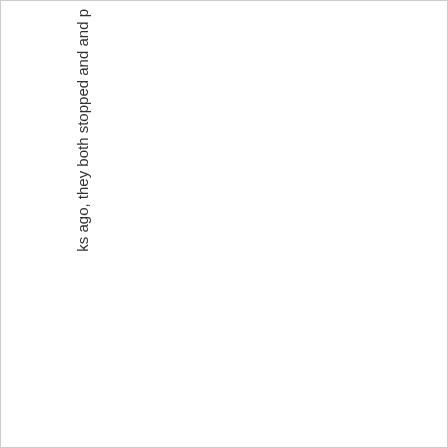ks ago, they both stopped and and p